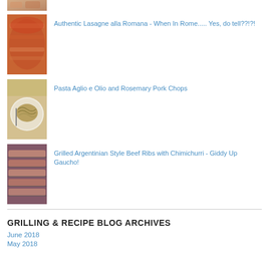[Figure (photo): Cropped top of a food photo, partially visible]
[Figure (photo): Photo of lasagne alla Romana, a baked pasta dish with tomato sauce]
Authentic Lasagne alla Romana - When In Rome..... Yes, do tell??!?!
[Figure (photo): Photo of pasta aglio e olio on a white plate with a fork]
Pasta Aglio e Olio and Rosemary Pork Chops
[Figure (photo): Photo of raw beef ribs on a grill]
Grilled Argentinian Style Beef Ribs with Chimichurri - Giddy Up Gaucho!
GRILLING & RECIPE BLOG ARCHIVES
June 2018
May 2018